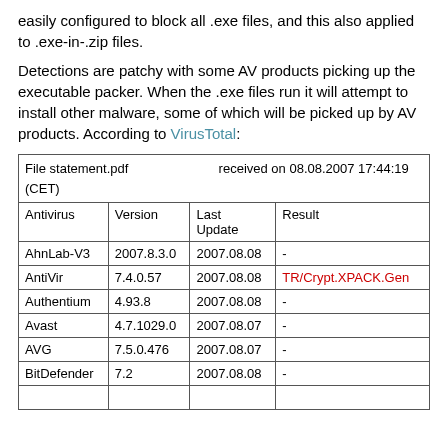easily configured to block all .exe files, and this also applied to .exe-in-.zip files.
Detections are patchy with some AV products picking up the executable packer. When the .exe files run it will attempt to install other malware, some of which will be picked up by AV products. According to VirusTotal:
| Antivirus | Version | Last Update | Result |
| --- | --- | --- | --- |
| AhnLab-V3 | 2007.8.3.0 | 2007.08.08 | - |
| AntiVir | 7.4.0.57 | 2007.08.08 | TR/Crypt.XPACK.Gen |
| Authentium | 4.93.8 | 2007.08.08 | - |
| Avast | 4.7.1029.0 | 2007.08.07 | - |
| AVG | 7.5.0.476 | 2007.08.07 | - |
| BitDefender | 7.2 | 2007.08.08 | - |